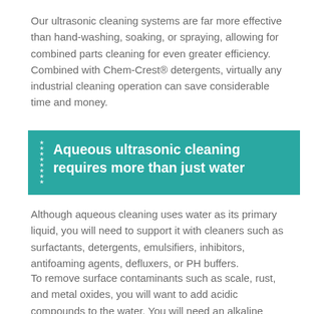Our ultrasonic cleaning systems are far more effective than hand-washing, soaking, or spraying, allowing for combined parts cleaning for even greater efficiency. Combined with Chem-Crest® detergents, virtually any industrial cleaning operation can save considerable time and money.
Aqueous ultrasonic cleaning requires more than just water
Although aqueous cleaning uses water as its primary liquid, you will need to support it with cleaners such as surfactants, detergents, emulsifiers, inhibitors, antifoaming agents, defluxers, or PH buffers.
To remove surface contaminants such as scale, rust, and metal oxides, you will want to add acidic compounds to the water. You will need an alkaline